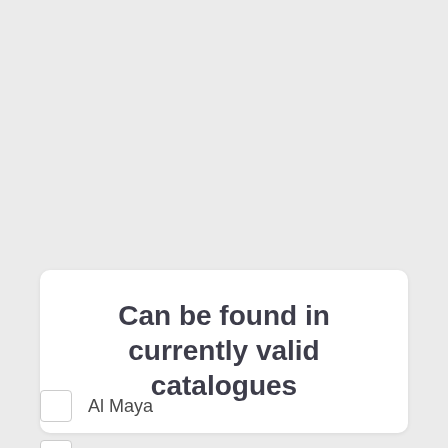Can be found in currently valid catalogues
Al Maya
Carrefour